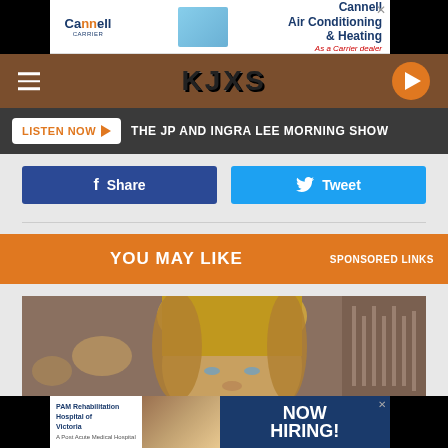[Figure (screenshot): Cannell Air Conditioning & Heating advertisement banner with Carrier logo and photo of worker with HVAC unit]
[Figure (screenshot): KJXS radio station navigation bar with hamburger menu, station logo, and orange play button]
LISTEN NOW  THE JP AND INGRA LEE MORNING SHOW
[Figure (screenshot): Facebook Share button (blue) and Twitter Tweet button (light blue)]
YOU MAY LIKE
SPONSORED LINKS
[Figure (photo): Close-up photo of a blonde woman looking at the camera, background blurred restaurant/bar setting]
[Figure (screenshot): PAM Rehabilitation Hospital of Victoria advertisement - NOW HIRING banner]